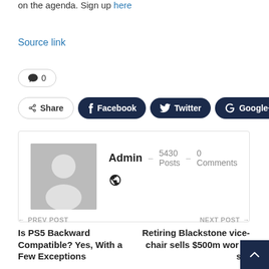on the agenda. Sign up here
Source link
💬 0
Share  Facebook  Twitter  Google+  +
Admin  ·  5430 Posts  ·  0 Comments
← PREV POST
Is PS5 Backward Compatible? Yes, With a Few Exceptions
NEXT POST →
Retiring Blackstone vice-chair sells $500m wor of sto